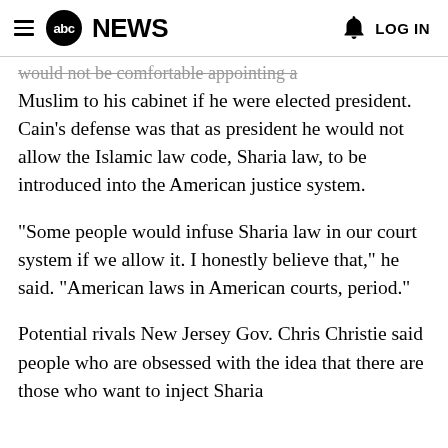abc NEWS  LOG IN
would not be comfortable appointing a Muslim to his cabinet if he were elected president. Cain's defense was that as president he would not allow the Islamic law code, Sharia law, to be introduced into the American justice system.
"Some people would infuse Sharia law in our court system if we allow it. I honestly believe that," he said. "American laws in American courts, period."
Potential rivals New Jersey Gov. Chris Christie said people who are obsessed with the idea that there are those who want to inject Sharia